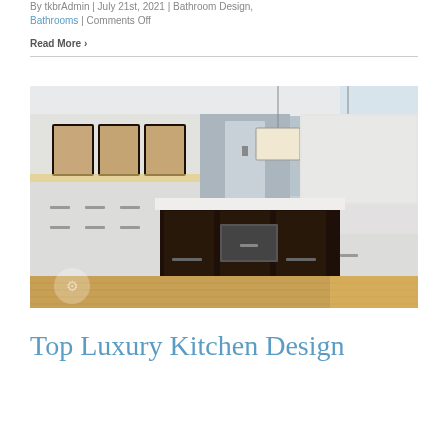By tkbrAdmin | July 21st, 2021 | Bathroom Design, Bathrooms | Comments Off
Read More >
[Figure (photo): Luxury kitchen interior with dark island, white cabinetry, pendant lights, and hardwood floors]
Top Luxury Kitchen Design